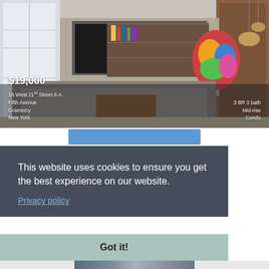[Figure (photo): Interior photo of a modern living room with large sofa, wooden coffee table, wall-mounted TV, built-in shelving, colorful sculpture, and pendant lights. Overlay text shows property details: $19,000, 16 West 21st Street 8-A, Fifth Avenue, Gramercy, New York on left; 3 BR 3 bath, Mid-rise, Condo on right.]
$19,000
16 West 21st Street 8-A
Fifth Avenue
Gramercy
New York
3 BR 3 bath
Mid-rise
Condo
This website uses cookies to ensure you get the best experience on our website.
Privacy policy
Got it!